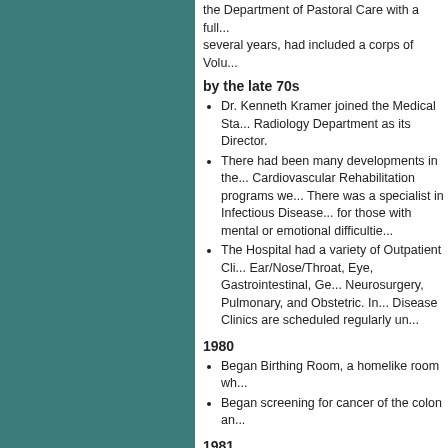the Department of Pastoral Care with a full ... several years, had included a corps of Volu...
by the late 70s
Dr. Kenneth Kramer joined the Medical Sta... Radiology Department as its Director.
There had been many developments in the... Cardiovascular Rehabilitation programs we... There was a specialist in Infectious Disease... for those with mental or emotional difficultie...
The Hospital had a variety of Outpatient Cli... Ear/Nose/Throat, Eye, Gastrointestinal, Ge... Neurosurgery, Pulmonary, and Obstetric. In... Disease Clinics are scheduled regularly un...
1980
Began Birthing Room, a homelike room wh...
Began screening for cancer of the colon an...
1981
Radiology acquired a new gamma camera... mini- computer attachment.
Dr. David Feinberg served his final year as... in his many years at the Hospital, has serve... time and his concern. Was Chief of Departm...
Easton Hospital's satellite Primary Care Ce...
1982
Weller Center for Health Education opened...
1982-3
Hospital acquired a CT Scanner.
1983